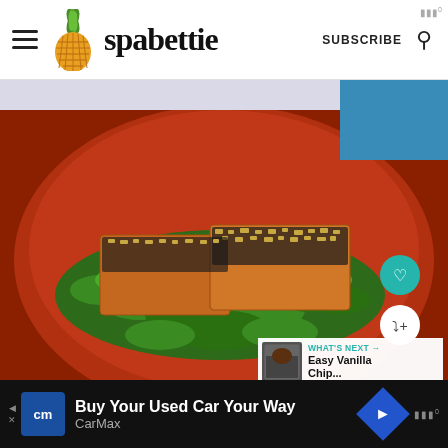spabettie | SUBSCRIBE
[Figure (photo): Sesame and peanut crusted tofu slices on a bed of sauteed kale, served on a red plate. Social media food blog screenshot from spabettie.com with heart and share buttons and a 'What's Next: Easy Vanilla Chip...' overlay thumbnail in bottom right.]
WHAT'S NEXT → Easy Vanilla Chip...
Buy Your Used Car Your Way CarMax